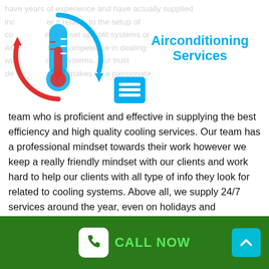[Figure (illustration): Air conditioning service logo: a circle with red upward arrow and blue downward arrow around a thermometer icon, indicating heating and cooling. A blue horizontal menu/lines icon is partially visible to the right of the main circle logo.]
Airconditioning Services
have years of experience and have actually supplied including whether it relates to the setup of cooling keep of set up split systems or AC best competence in dealing with ding systems. Our trust de mber makes us a passionate team who is proficient and effective in supplying the best efficiency and high quality cooling services. Our team has a professional mindset towards their work however we keep a really friendly mindset with our clients and work hard to help our clients with all type of info they look for related to cooling systems. Above all, we supply 24/7 services around the year, even on holidays and getaways.
AIR CONDITIONING REPAIRS, SALES & SERVICE IN
[Figure (infographic): Bottom dark green bar with a white rounded square phone icon and green 'CALL NOW' text in the center, and a cyan/teal square with a white upward chevron arrow on the right side.]